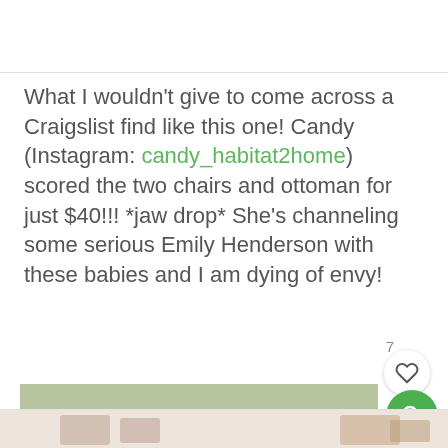What I wouldn't give to come across a Craigslist find like this one! Candy (Instagram: candy_habitat2home) scored the two chairs and ottoman for just $40!!! *jaw drop* She's channeling some serious Emily Henderson with these babies and I am dying of envy!
[Figure (photo): Outdoor photo showing a lawn with wood chairs/furniture visible in background, snowy ground, with UI overlays including a heart/like button (7 likes) and a green search button]
[Figure (photo): Partial bottom strip showing furniture items in a blurred/cropped preview]